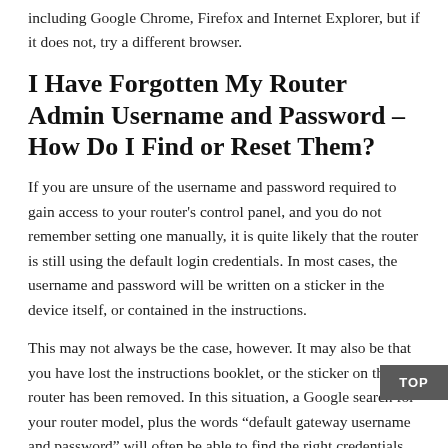including Google Chrome, Firefox and Internet Explorer, but if it does not, try a different browser.
I Have Forgotten My Router Admin Username and Password – How Do I Find or Reset Them?
If you are unsure of the username and password required to gain access to your router's control panel, and you do not remember setting one manually, it is quite likely that the router is still using the default login credentials. In most cases, the username and password will be written on a sticker in the device itself, or contained in the instructions.
This may not always be the case, however. It may also be that you have lost the instructions booklet, or the sticker on the router has been removed. In this situation, a Google search for your router model, plus the words “default gateway username and password” will often be able to find the right credentials.